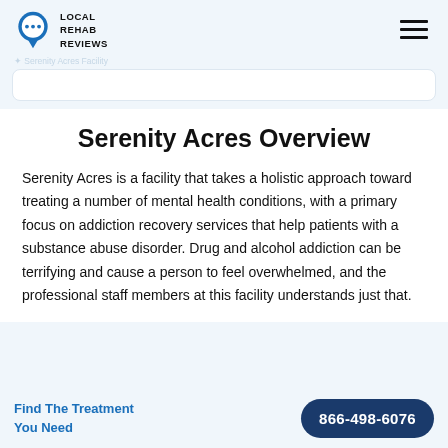LOCAL REHAB REVIEWS
Serenity Acres Overview
Serenity Acres is a facility that takes a holistic approach toward treating a number of mental health conditions, with a primary focus on addiction recovery services that help patients with a substance abuse disorder. Drug and alcohol addiction can be terrifying and cause a person to feel overwhelmed, and the professional staff members at this facility understands just that.
Find The Treatment You Need | 866-498-6076